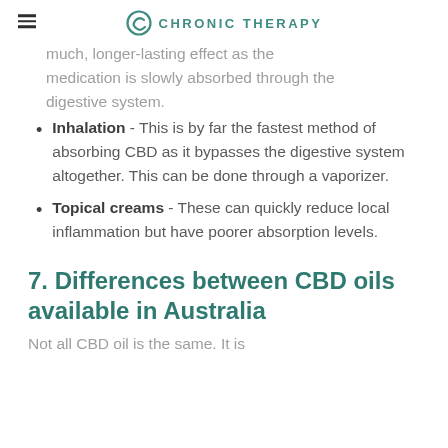CHRONIC THERAPY
much, longer-lasting effect as the medication is slowly absorbed through the digestive system.
Inhalation - This is by far the fastest method of absorbing CBD as it bypasses the digestive system altogether. This can be done through a vaporizer.
Topical creams - These can quickly reduce local inflammation but have poorer absorption levels.
7. Differences between CBD oils available in Australia
Not all CBD oil is the same. It is